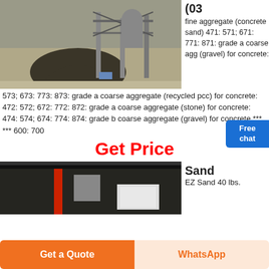[Figure (photo): Industrial aggregate/sand facility with large pile of material and structural framework visible]
(03 fine aggregate (concrete sand) 471: 571; 671: 771: 871: grade a coarse aggregate (gravel) for concrete:
573; 673: 773: 873: grade a coarse aggregate (recycled pcc) for concrete: 472: 572; 672: 772: 872: grade a coarse aggregate (stone) for concrete: 474: 574; 674: 774: 874: grade b coarse aggregate (gravel) for concrete *** *** 600: 700
Get Price
[Figure (photo): Industrial interior with red piping and ductwork in a dark facility]
Sand
EZ Sand 40 lbs.